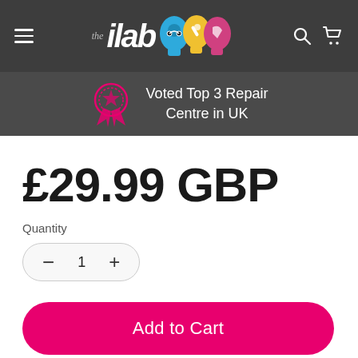[Figure (logo): The iLab logo with colorful head silhouettes (blue, yellow, pink) and text 'the ilab']
Voted Top 3 Repair Centre in UK
£29.99 GBP
Quantity
− 1 +
Add to Cart